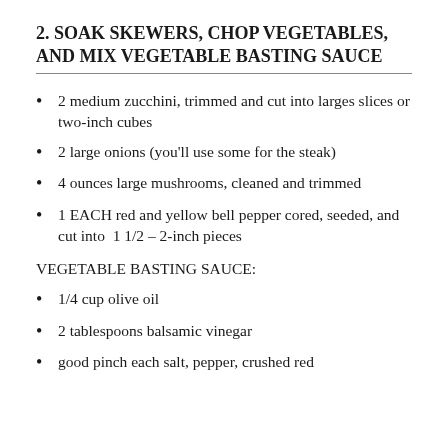2. SOAK SKEWERS, CHOP VEGETABLES, AND MIX VEGETABLE BASTING SAUCE
2 medium zucchini, trimmed and cut into larges slices or two-inch cubes
2 large onions (you'll use some for the steak)
4 ounces large mushrooms, cleaned and trimmed
1 EACH red and yellow bell pepper cored, seeded, and cut into  1 1/2 – 2-inch pieces
VEGETABLE BASTING SAUCE:
1/4 cup olive oil
2 tablespoons balsamic vinegar
good pinch each salt, pepper, crushed red